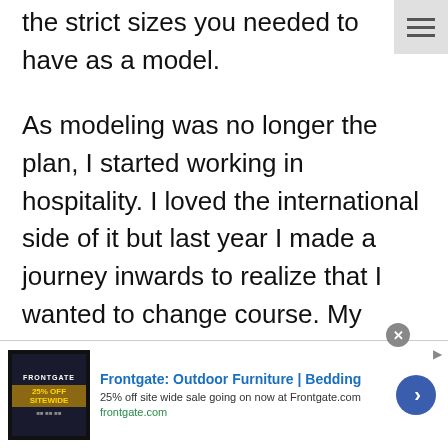the strict sizes you needed to have as a model.
As modeling was no longer the plan, I started working in hospitality. I loved the international side of it but last year I made a journey inwards to realize that I wanted to change course. My realization was that I wanted to create a free life. So earlier this year, I decided to quit my hotel job to become an online entrepreneur. I took a leap
[Figure (screenshot): Advertisement banner for Frontgate: Outdoor Furniture and Bedding. Shows 25% off sitewide sale, with frontgate.com URL and a navigation arrow button.]